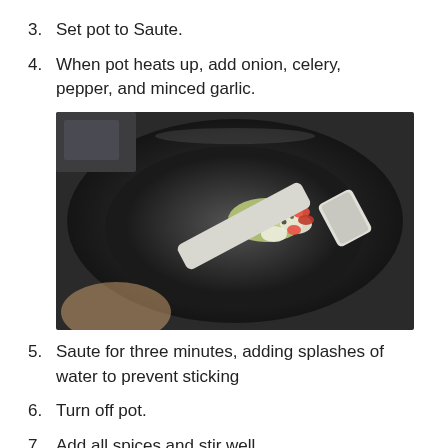3. Set pot to Saute.
4. When pot heats up, add onion, celery, pepper, and minced garlic.
[Figure (photo): Photo of a dark non-stick pot on sauté mode with chopped vegetables (red peppers, onion, celery, garlic) being stirred with a white spatula.]
5. Saute for three minutes, adding splashes of water to prevent sticking
6. Turn off pot.
7. Add all spices and stir well.